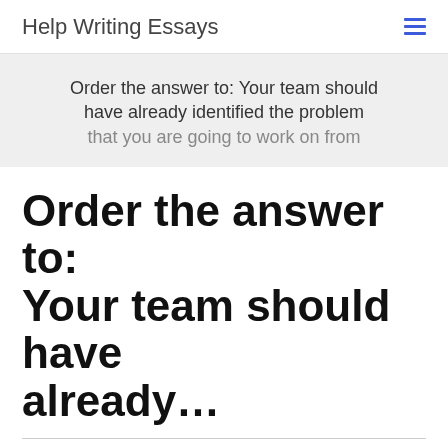Help Writing Essays
Order the answer to: Your team should have already identified the problem that you are going to work on from the
Order the answer to: Your team should have already...
Question   Your team should have already identified the problem that you are going to work on from the submission of the assignment. Your team can only